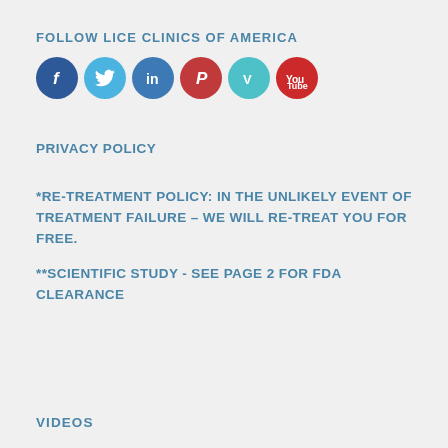FOLLOW LICE CLINICS OF AMERICA
[Figure (illustration): Six social media icons in circles: Facebook (dark blue), Twitter (light blue), LinkedIn (blue), Pinterest (red), Vimeo (teal), YouTube (red)]
PRIVACY POLICY
*RE-TREATMENT POLICY: IN THE UNLIKELY EVENT OF TREATMENT FAILURE – WE WILL RE-TREAT YOU FOR FREE.
**SCIENTIFIC STUDY - SEE PAGE 2 FOR FDA CLEARANCE
VIDEOS